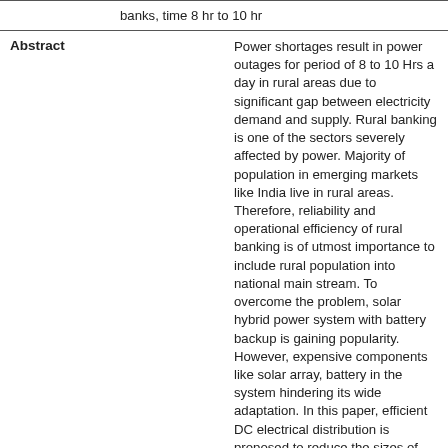banks, time 8 hr to 10 hr
Power shortages result in power outages for period of 8 to 10 Hrs a day in rural areas due to significant gap between electricity demand and supply. Rural banking is one of the sectors severely affected by power. Majority of population in emerging markets like India live in rural areas. Therefore, reliability and operational efficiency of rural banking is of utmost importance to include rural population into national main stream. To overcome the problem, solar hybrid power system with battery backup is gaining popularity. However, expensive components like solar array, battery in the system hindering its wide adaptation. In this paper, efficient DC electrical distribution is proposed to reduce the sizes of expensive solar and battery components. Economic analysis is performed for a typical core banking rural bank. It is shown that by adopting DC grid, Rs. 1.22 lakh can be saved per rural bank. The saving will be Rs. 1.83 billion, if DC grid is implemented across all the 15,000 branches of rural banks.
10.1109/INDCON.2011.6139611